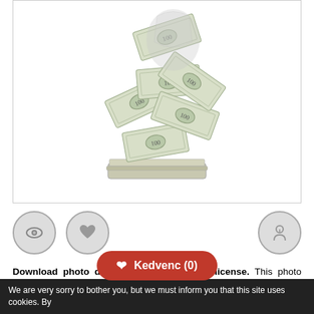[Figure (illustration): Illustration of dollar banknotes flying up from a stack of bills, on white background inside a bordered box]
[Figure (other): Row of icon buttons: eye icon, heart icon (favorites), and a person/author icon on the right, inside grey circles]
Download photo dollár with Royalty Free license. This photo named dollár was taken by author frenta. You can use Royalty Free photos for advertisement, photos for marketing, images on products, photo for print, as __NAME__ images on website, etc. Photo displays Szimbólum a gazdagság és a siker - eső dollárt can... nloaded
❤ Kedvenc (0)
We are very sorry to bother you, but we must inform you that this site uses cookies. By